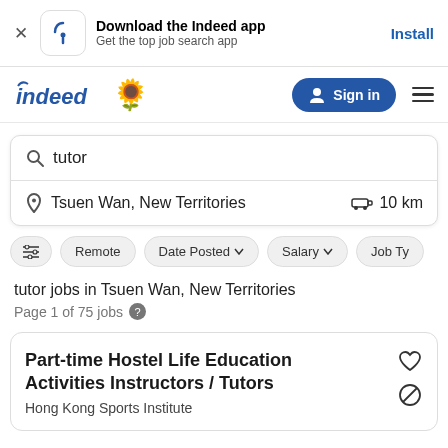Download the Indeed app — Get the top job search app — Install
[Figure (screenshot): Indeed logo with sunflower emoji, Sign in button, and hamburger menu]
tutor (search query in search box)
Tsuen Wan, New Territories   10 km
Remote
Date Posted
Salary
Job Ty...
tutor jobs in Tsuen Wan, New Territories
Page 1 of 75 jobs
Part-time Hostel Life Education Activities Instructors / Tutors
Hong Kong Sports Institute